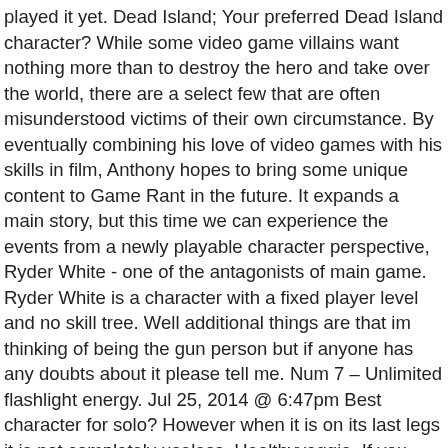played it yet. Dead Island; Your preferred Dead Island character? While some video game villains want nothing more than to destroy the hero and take over the world, there are a select few that are often misunderstood victims of their own circumstance. By eventually combining his love of video games with his skills in film, Anthony hopes to bring some unique content to Game Rant in the future. It expands a main story, but this time we can experience the events from a newly playable character perspective, Ryder White - one of the antagonists of main game. Ryder White is a character with a fixed player level and no skill tree. Well additional things are that im thinking of being the gun person but if anyone has any doubts about it please tell me. Num 7 – Unlimited flashlight energy. Jul 25, 2014 @ 6:47pm Best character for solo? However when it is on its last legs it is not completely useless. Healthyveggie. If you look under the "Extras" section of Dead Island, you'll see a list of upcoming DLC. You need to sign in or create an account to do that. Every one of these guys has a weapon specialization and different skill-upgrades, which allow